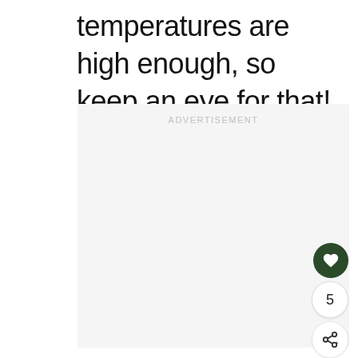temperatures are high enough, so keep an eye for that!
[Figure (other): Advertisement placeholder box with light gray background and 'ADVERTISEMENT' label at top center]
[Figure (other): Heart/like button (dark green circle with white heart icon), like count '5', and share button with share icon — vertical button group on right side]